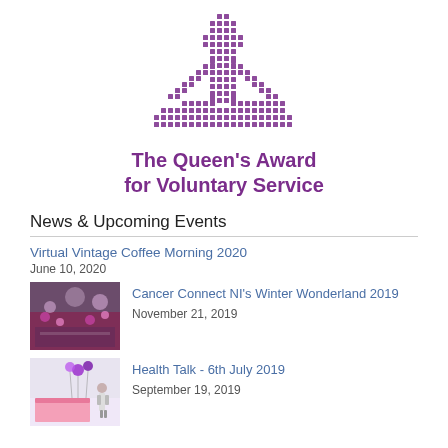[Figure (logo): The Queen's Award for Voluntary Service crown logo made of purple dots/squares]
The Queen's Award for Voluntary Service
News & Upcoming Events
Virtual Vintage Coffee Morning 2020
June 10, 2020
[Figure (photo): Photo of a decorated event hall with balloons and lights for Cancer Connect NI Winter Wonderland 2019]
Cancer Connect NI's Winter Wonderland 2019
November 21, 2019
[Figure (photo): Photo of a person standing at a display table with purple balloons for Health Talk - 6th July 2019]
Health Talk - 6th July 2019
September 19, 2019